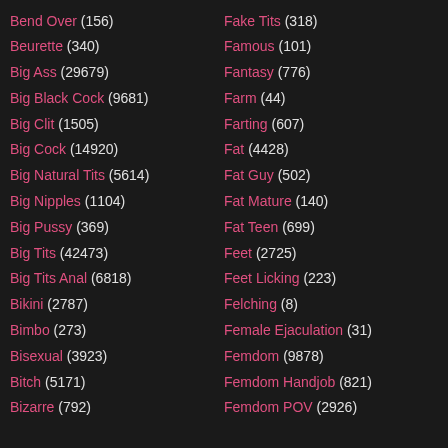Bend Over (156)
Beurette (340)
Big Ass (29679)
Big Black Cock (9681)
Big Clit (1505)
Big Cock (14920)
Big Natural Tits (5614)
Big Nipples (1104)
Big Pussy (369)
Big Tits (42473)
Big Tits Anal (6818)
Bikini (2787)
Bimbo (273)
Bisexual (3923)
Bitch (5171)
Bizarre (792)
Fake Tits (318)
Famous (101)
Fantasy (776)
Farm (44)
Farting (607)
Fat (4428)
Fat Guy (502)
Fat Mature (140)
Fat Teen (699)
Feet (2725)
Feet Licking (223)
Felching (8)
Female Ejaculation (31)
Femdom (9878)
Femdom Handjob (821)
Femdom POV (2926)